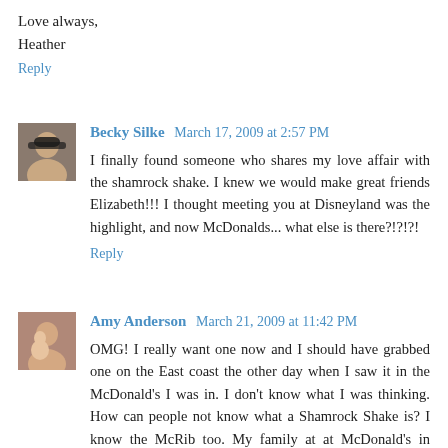Love always,
Heather
Reply
Becky Silke  March 17, 2009 at 2:57 PM
I finally found someone who shares my love affair with the shamrock shake. I knew we would make great friends Elizabeth!!! I thought meeting you at Disneyland was the highlight, and now McDonalds... what else is there?!?!?!
Reply
Amy Anderson  March 21, 2009 at 11:42 PM
OMG! I really want one now and I should have grabbed one on the East coast the other day when I saw it in the McDonald's I was in. I don't know what I was thinking. How can people not know what a Shamrock Shake is? I know the McRib too. My family at at McDonald's in suburban MN EVERY Wednesday night before midweek church. Good times. Always. Good times.